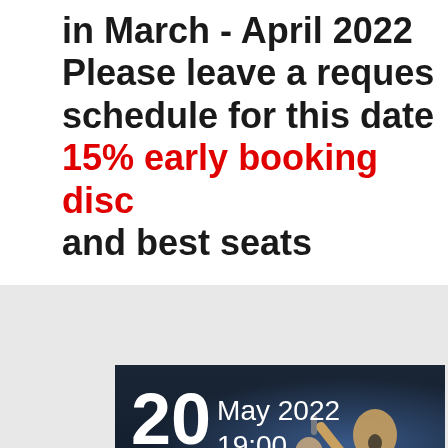in March - April 2022 Please leave a request schedule for this date t 15% early booking disc and best seats
[Figure (photo): Event card showing a theatrical performance date: 20 May 2022 at 19:00, with a performer on stage in the background]